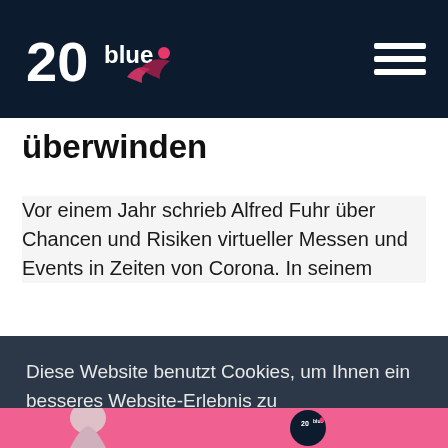20blue
überwinden
Vor einem Jahr schrieb Alfred Fuhr über Chancen und Risiken virtueller Messen und Events in Zeiten von Corona. In seinem
Diese Website benutzt Cookies, um Ihnen ein besseres Website-Erlebnis zu ermöglichen.  Mehr Informationen
Ablehnen
Zustimmen